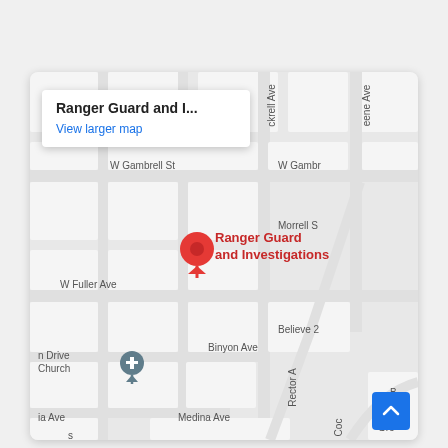[Figure (map): Google Maps screenshot showing the location of Ranger Guard and Investigations. A red location pin marks the business on the map. Street names visible include W Gambrell St, W Fuller Ave, Binyon Ave, Medina Ave, Morrell S, Believe 2, Rector A, n Drive Church. A blue shopping/location pin is visible near the top. An info popup shows 'Ranger Guard and I...' with a 'View larger map' link. A blue scroll-to-top button is in the bottom right corner.]